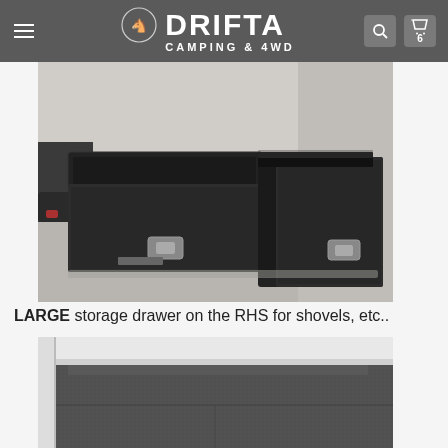DRIFTA CAMPING & 4WD
[Figure (photo): Two large black drawer storage units pulled out from the back of a 4WD vehicle, showing carpet-lined interior and metal latches, photographed in a garage.]
LARGE storage drawer on the RHS for shovels, etc..
[Figure (photo): Close-up view of a flat carpet-lined floor/platform inside a 4WD vehicle storage system, showing a seam in the middle of the carpet.]